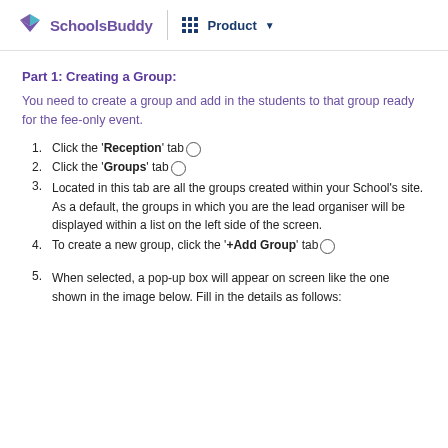SchoolsBuddy | Product
Part 1: Creating a Group:
You need to create a group and add in the students to that group ready for the fee-only event.
Click the 'Reception' tab○
Click the 'Groups' tab○
Located in this tab are all the groups created within your School's site. As a default, the groups in which you are the lead organiser will be displayed within a list on the left side of the screen.
To create a new group, click the '+Add Group' tab○
When selected, a pop-up box will appear on screen like the one shown in the image below. Fill in the details as follows: